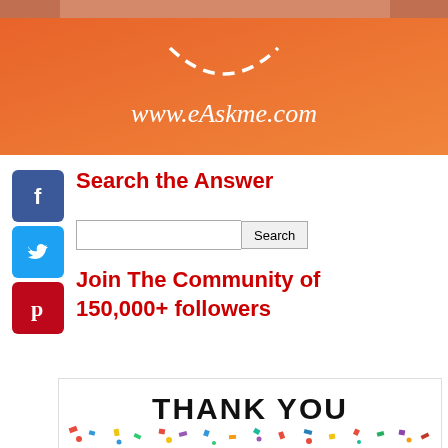[Figure (photo): Orange gradient banner with www.eAskme.com text and dashed smile arc at top, with hands visible at top edge]
[Figure (logo): Facebook blue square icon with white f letter]
[Figure (logo): Twitter blue square icon with white bird]
[Figure (logo): Pinterest red square icon with white P letter]
Search the Answer
Search (input field and button)
Join The Community of 150,000+ followers
[Figure (photo): THANK YOU text over colorful confetti celebration image]